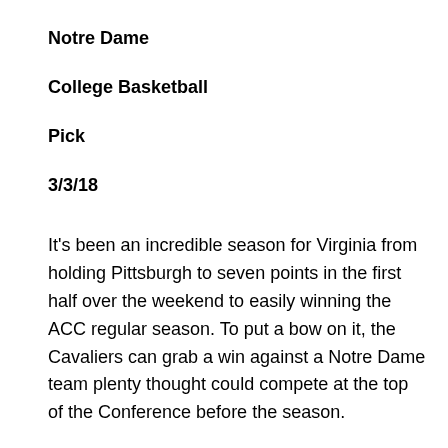Notre Dame
College Basketball
Pick
3/3/18
It's been an incredible season for Virginia from holding Pittsburgh to seven points in the first half over the weekend to easily winning the ACC regular season. To put a bow on it, the Cavaliers can grab a win against a Notre Dame team plenty thought could compete at the top of the Conference before the season.
Unfortunately for the Irish, it's been a mess of a season due to injuries. The good news is that they're close to fully healthy